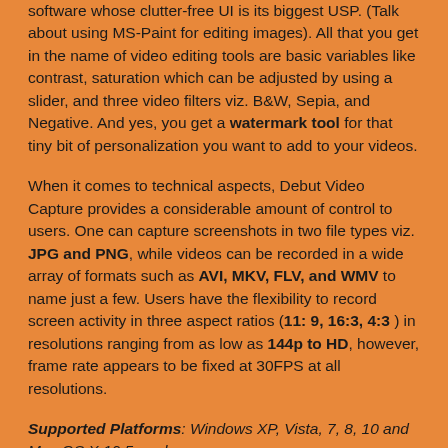software whose clutter-free UI is its biggest USP. (Talk about using MS-Paint for editing images). All that you get in the name of video editing tools are basic variables like contrast, saturation which can be adjusted by using a slider, and three video filters viz. B&W, Sepia, and Negative. And yes, you get a watermark tool for that tiny bit of personalization you want to add to your videos.
When it comes to technical aspects, Debut Video Capture provides a considerable amount of control to users. One can capture screenshots in two file types viz. JPG and PNG, while videos can be recorded in a wide array of formats such as AVI, MKV, FLV, and WMV to name just a few. Users have the flexibility to record screen activity in three aspect ratios (11: 9, 16:3, 4:3 ) in resolutions ranging from as low as 144p to HD, however, frame rate appears to be fixed at 30FPS at all resolutions.
Supported Platforms: Windows XP, Vista, 7, 8, 10 and Mac OS X 10.5 or above